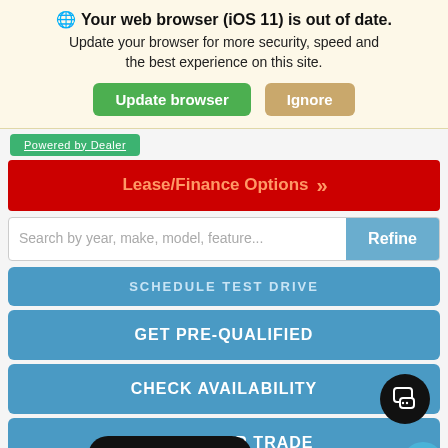🌐 Your web browser (iOS 11) is out of date. Update your browser for more security, speed and the best experience on this site.
Update browser | Ignore
Powered by Dealer (partial, truncated)
Lease/Finance Options >>
Search by year, make, model, feature... | Refine
SCHEDULE TEST DRIVE
GET PRE-QUALIFIED
CHECK AVAILABILITY
VALUE YOUR TRADE
Value My Trade
SPECIAL OFFER
TOYOTA HIGHLANDER HYBRID XLE